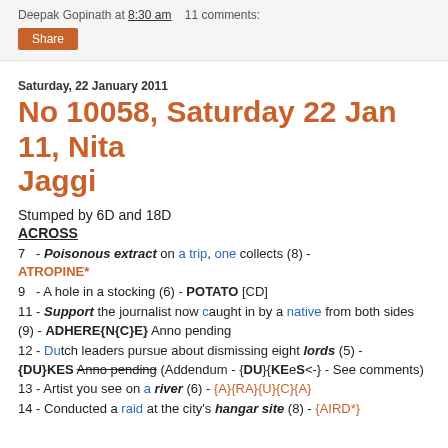Deepak Gopinath at 8:30 am   11 comments:
Share
Saturday, 22 January 2011
No 10058, Saturday 22 Jan 11, Nita Jaggi
Stumped by 6D and 18D
ACROSS
7  - Poisonous extract on a trip, one collects (8) - ATROPINE*
9  - A hole in a stocking (6) - POTATO [CD]
11 - Support the journalist now caught in by a native from both sides (9) - ADHERE{N{C}E} Anno pending
12 - Dutch leaders pursue about dismissing eight lords (5) - {DU}KES Anno pending (Addendum - {DU}{KEeS<-} - See comments)
13 - Artist you see on a river (6) - {A}{RA}{U}{C}{A}
14 - Conducted a raid at the city's hangar site (8) - {AIRD*}